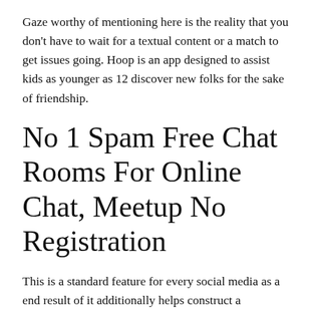Gaze worthy of mentioning here is the reality that you don't have to wait for a textual content or a match to get issues going. Hoop is an app designed to assist kids as younger as 12 discover new folks for the sake of friendship.
No 1 Spam Free Chat Rooms For Online Chat, Meetup No Registration
This is a standard feature for every social media as a end result of it additionally helps construct a relationship with numerous individuals and talk for some time. Duo is even obtainable on iOS, so you'll be succesful of communicate alongside